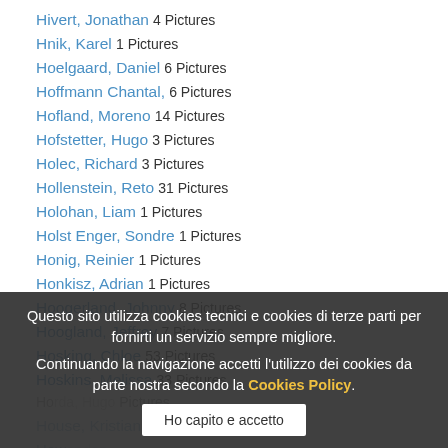Hivert, Jonathan 4 Pictures
Hnik, Karel 1 Pictures
Hoelgaard, Daniel 6 Pictures
Hoffmann Chantal, 6 Pictures
Hofland, Moreno 14 Pictures
Hofstetter, Hugo 3 Pictures
Holec, Richard 3 Pictures
Hollenstein, Reto 31 Pictures
Holohan, Liam 1 Pictures
Holst Enger, Sondre 1 Pictures
Honig, Reinier 1 Pictures
Honkisz, Adrian 1 Pictures
Hoogerland, Johnny 8 Pictures
Hoogland, Jeffrey 7 Pictures
Hosking, Chloe 53 Pictures
Hoskins, Melissa 33 Pictures
House, Kristian [obscured] Pictures
How[obscured]
Howes, Alex [obscured] Pictures
Howson, Damien 62 Pictures
Hsiao, Mei Yu 1 Pictures
Questo sito utilizza cookies tecnici e cookies di terze parti per fornirti un servizio sempre migliore. Continuando la navigazione accetti l'utilizzo dei cookies da parte nostra secondo la Cookies Policy. Ho capito e accetto